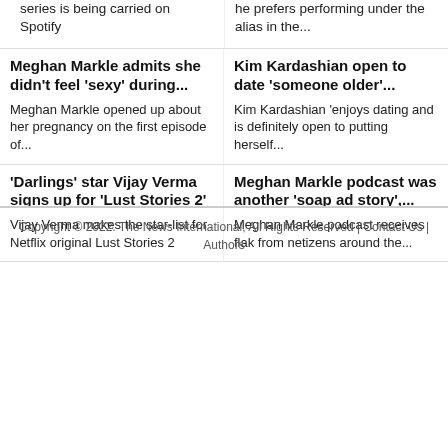...Markle's podcast series is being carried on Spotify
...Joe Henry explains why he prefers performing under the alias in the...
Meghan Markle admits she didn't feel 'sexy' during...
Meghan Markle opened up about her pregnancy on the first episode of...
Kim Kardashian open to date 'someone older'...
Kim Kardashian 'enjoys dating and is definitely open to putting herself...
'Darlings' star Vijay Verma signs up for 'Lust Stories 2'
Vijay Verma makes the star-list for Netflix original Lust Stories 2
Meghan Markle podcast was another 'soap ad story',...
Meghan Markle podcast receives flak from netizens around the...
Copyright © 2022. The News International, All Rights Reserved | Contact Us | Authors